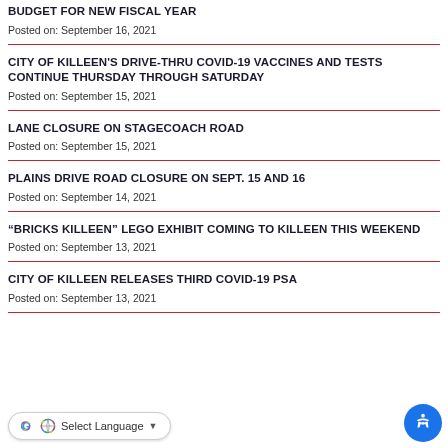BUDGET FOR NEW FISCAL YEAR
Posted on: September 16, 2021
CITY OF KILLEEN'S DRIVE-THRU COVID-19 VACCINES AND TESTS CONTINUE THURSDAY THROUGH SATURDAY
Posted on: September 15, 2021
LANE CLOSURE ON STAGECOACH ROAD
Posted on: September 15, 2021
PLAINS DRIVE ROAD CLOSURE ON SEPT. 15 AND 16
Posted on: September 14, 2021
“BRICKS KILLEEN” LEGO EXHIBIT COMING TO KILLEEN THIS WEEKEND
Posted on: September 13, 2021
CITY OF KILLEEN RELEASES THIRD COVID-19 PSA
Posted on: September 13, 2021